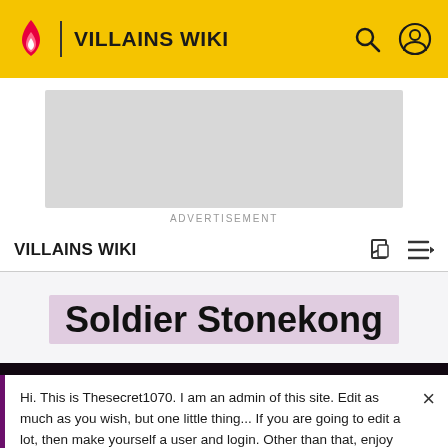VILLAINS WIKI
[Figure (screenshot): Advertisement placeholder, gray rectangle]
ADVERTISEMENT
VILLAINS WIKI
Soldier Stonekong
Hi. This is Thesecret1070. I am an admin of this site. Edit as much as you wish, but one little thing... If you are going to edit a lot, then make yourself a user and login. Other than that, enjoy Villains Wiki!!!